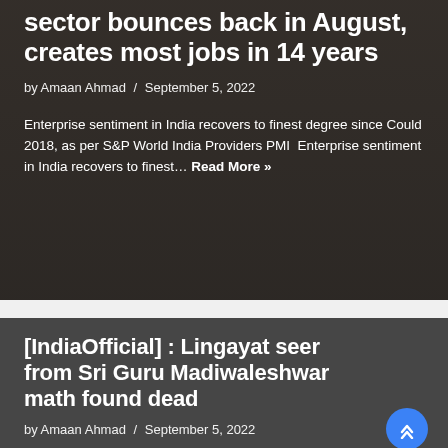sector bounces back in August, creates most jobs in 14 years
by Amaan Ahmad / September 5, 2022
Enterprise sentiment in India recovers to finest degree since Could 2018, as per S&P World India Providers PMI Enterprise sentiment in India recovers to finest… Read More »
[IndiaOfficial] : Lingayat seer from Sri Guru Madiwaleshwar math found dead
by Amaan Ahmad / September 5, 2022